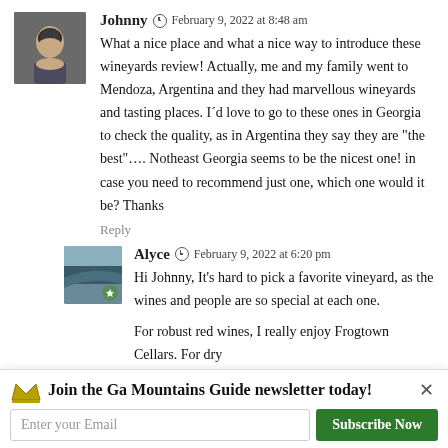[Figure (photo): Avatar photo of commenter Johnny, a young man]
Johnny  February 9, 2022 at 8:48 am
What a nice place and what a nice way to introduce these wineyards review! Actually, me and my family went to Mendoza, Argentina and they had marvellous wineyards and tasting places. I´d love to go to these ones in Georgia to check the quality, as in Argentina they say they are "the best".... Notheast Georgia seems to be the nicest one! in case you need to recommend just one, which one would it be? Thanks
Reply
[Figure (photo): Avatar photo of commenter Alyce, landscape/nature scene with a star badge]
Alyce  February 9, 2022 at 6:20 pm
Hi Johnny, It's hard to pick a favorite vineyard, as the wines and people are so special at each one.

For robust red wines, I really enjoy Frogtown Cellars. For dry
Join the Ga Mountains Guide newsletter today!
Enter your Email
Subscribe Now